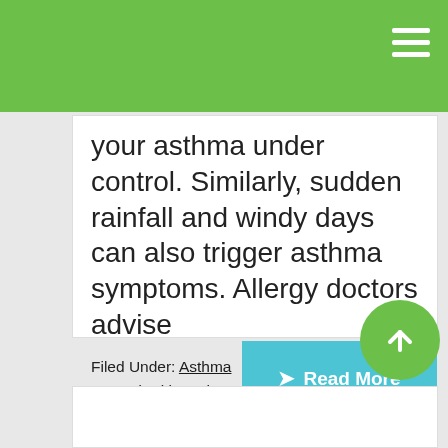your asthma under control. Similarly, sudden rainfall and windy days can also trigger asthma symptoms. Allergy doctors advise
Filed Under: Asthma
Tagged With: asthma symptoms, asthma treatment downers grove IL, asthma treatment naperville IL, Asthma Treatment near me, asthma treatment plainfield IL, asthma treatmentelmhurst IL, Oak Brook Allergists, Season Allergies
Read More